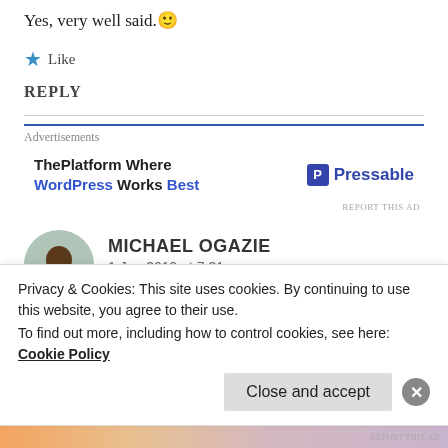Yes, very well said. 🙂
★ Like
REPLY
[Figure (infographic): Advertisement banner for Pressable - ThePlatform Where WordPress Works Best]
MICHAEL OGAZIE
1 Jun 2019 at 7:31 pm
Privacy & Cookies: This site uses cookies. By continuing to use this website, you agree to their use.
To find out more, including how to control cookies, see here: Cookie Policy
Close and accept